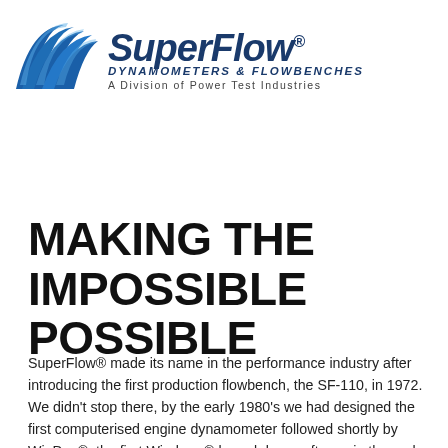[Figure (logo): SuperFlow Dynamometers & Flowbenches logo — blue wave/chevron graphic on the left, bold italic 'SuperFlow' wordmark in dark navy, 'DYNAMOMETERS & FLOWBENCHES' subtitle, 'A Division of Power Test Industries' tagline]
MAKING THE IMPOSSIBLE POSSIBLE
SuperFlow® made its name in the performance industry after introducing the first production flowbench, the SF-110, in 1972. We didn't stop there, by the early 1980's we had designed the first computerised engine dynamometer followed shortly by WinDyn®, the first Windows® based dyno software in the early 90's. In the late 1990's we amazed the chassis dynamometer